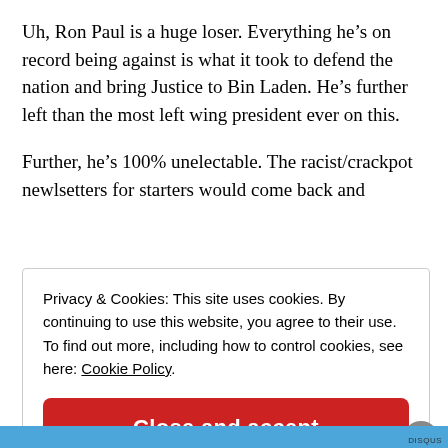Uh, Ron Paul is a huge loser. Everything he's on record being against is what it took to defend the nation and bring Justice to Bin Laden. He's further left than the most left wing president ever on this.
Further, he's 100% unelectable. The racist/crackpot newlsetters for starters would come back and
Privacy & Cookies: This site uses cookies. By continuing to use this website, you agree to their use. To find out more, including how to control cookies, see here: Cookie Policy
Close and accept